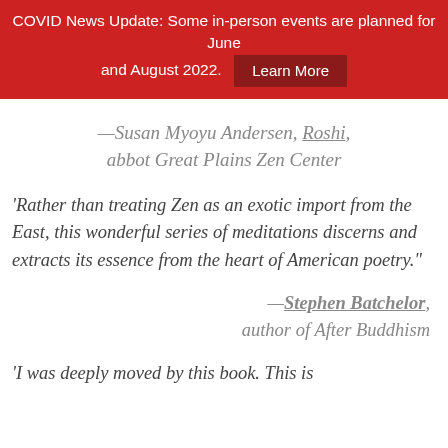COVID News Update: Some in-person events are planned for June and August 2022. Learn More
—Susan Myoyu Andersen, Roshi, abbot Great Plains Zen Center
'Rather than treating Zen as an exotic import from the East, this wonderful series of meditations discerns and extracts its essence from the heart of American poetry.'
—Stephen Batchelor, author of After Buddhism
'I was deeply moved by this book. This is